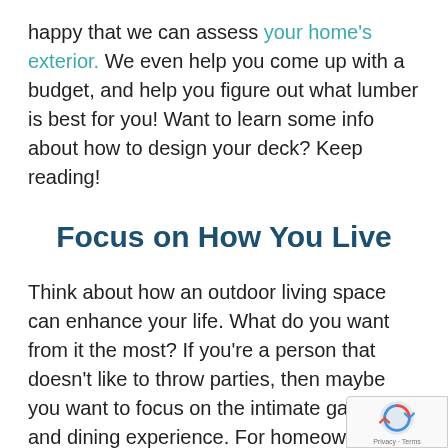happy that we can assess your home's exterior. We even help you come up with a budget, and help you figure out what lumber is best for you! Want to learn some info about how to design your deck? Keep reading!
Focus on How You Live
Think about how an outdoor living space can enhance your life. What do you want from it the most? If you're a person that doesn't like to throw parties, then maybe you want to focus on the intimate gathering and dining experience. For homeowners that love to cook, they often invest in an outdoor kitchen area. Ask your family members what their needs are. You can add a fire pit where people can talk about life around the fire as well as adding natural elements such as container pots if you green thumb. Some people even add a hot tub so